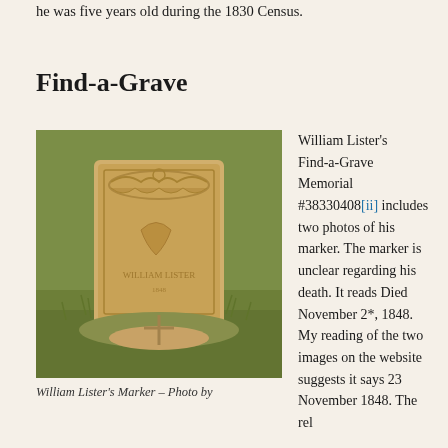he was five years old during the 1830 Census.
Find-a-Grave
[Figure (photo): Photo of William Lister's gravestone marker, a weathered stone with decorative carved drapery at top, set in grass.]
William Lister's Marker – Photo by
William Lister's Find-a-Grave Memorial #38330408[ii] includes two photos of his marker. The marker is unclear regarding his death. It reads Died November 2*, 1848. My reading of the two images on the website suggests it says 23 November 1848. The rel...